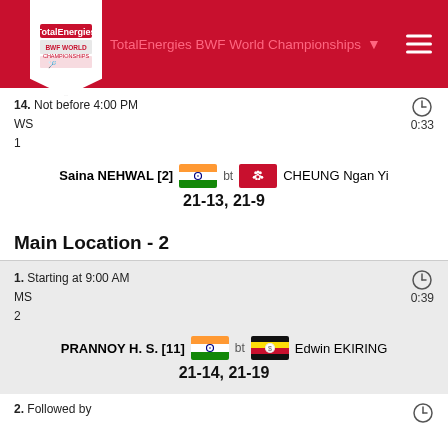TotalEnergies BWF World Championships
14. Not before 4:00 PM
WS
1
0:33
Saina NEHWAL [2] bt CHEUNG Ngan Yi
21-13, 21-9
Main Location - 2
1. Starting at 9:00 AM
MS
2
0:39
PRANNOY H. S. [11] bt Edwin EKIRING
21-14, 21-19
2. Followed by